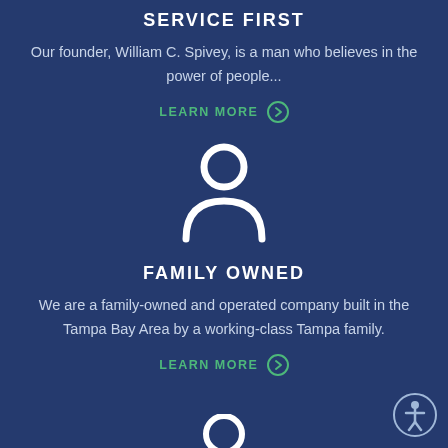SERVICE FIRST
Our founder, William C. Spivey, is a man who believes in the power of people...
LEARN MORE ❯
[Figure (illustration): White outline person/user icon on dark blue background]
FAMILY OWNED
We are a family-owned and operated company built in the Tampa Bay Area by a working-class Tampa family.
LEARN MORE ❯
[Figure (illustration): Accessibility icon - white person with circle outline in bottom right corner]
[Figure (illustration): Partial white outline icon at bottom center, partially cut off]